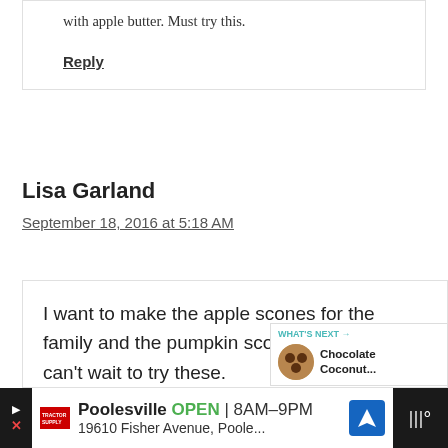with apple butter. Must try this.
Reply
Lisa Garland
September 18, 2016 at 5:18 AM
I want to make the apple scones for the family and the pumpkin sco... for myself.mI can't wait to try these.
WHAT'S NEXT → Chocolate Coconut...
Poolesville OPEN 8AM–9PM 19610 Fisher Avenue, Poole...